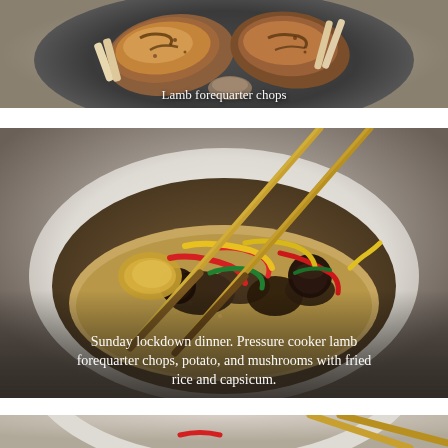[Figure (photo): Grilled lamb forequarter chops on a dark blue/grey plate, viewed from above. The meat is browned and slightly charred. White text caption reads 'Lamb forequarter chops' overlaid at the bottom of the image.]
[Figure (photo): A bowl of Sunday lockdown dinner: pressure cooker lamb forequarter chops with potato and mushrooms, served on fried rice with colourful capsicum (red, yellow, green bell peppers) and chopsticks resting on the bowl. White text caption overlaid at bottom reads: 'Sunday lockdown dinner. Pressure cooker lamb forequarter chops, potato, and mushrooms with fried rice and capsicum.']
[Figure (photo): Partial view of another bowl of food with chopsticks, cropped at the bottom of the page. Similar style to the dish above.]